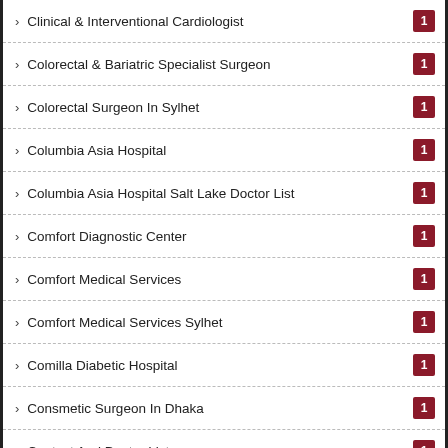Clinical & Interventional Cardiologist 1
Colorectal & Bariatric Specialist Surgeon 1
Colorectal Surgeon In Sylhet 1
Columbia Asia Hospital 1
Columbia Asia Hospital Salt Lake Doctor List 1
Comfort Diagnostic Center 1
Comfort Medical Services 1
Comfort Medical Services Sylhet 1
Comilla Diabetic Hospital 1
Consmetic Surgeon In Dhaka 1
Contact And Doctor List 1
Cosmetic Surgeon In Chittagong 1
Cost Of Diagnostic Test (scroll)
Crescent Gastroliver And General Hospital 1